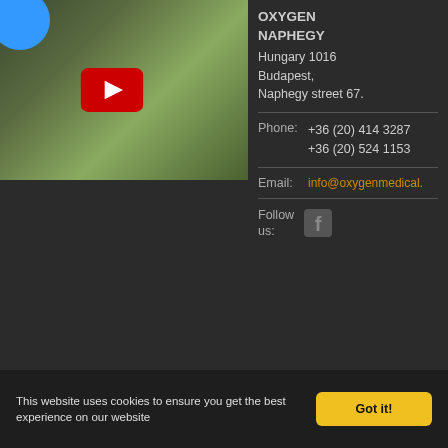[Figure (screenshot): YouTube video thumbnail showing a building with greenery, with a red YouTube play button overlay and a blue circle in the top-left corner]
OXYGEN NAPHEGY
Hungary 1016 Budapest,
Naphegy street 67.
Phone: +36 (20) 414 3287
+36 (20) 524 1153
Email: info@oxygenmedical.
Follow us:
This website uses cookies to ensure you get the best experience on our website
Got it!